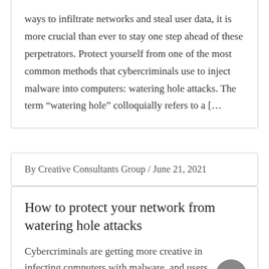ways to infiltrate networks and steal user data, it is more crucial than ever to stay one step ahead of these perpetrators. Protect yourself from one of the most common methods that cybercriminals use to inject malware into computers: watering hole attacks. The term “watering hole” colloquially refers to a [...
By Creative Consultants Group / June 21, 2021
How to protect your network from watering hole attacks
Cybercriminals are getting more creative in infecting computers with malware, and users...